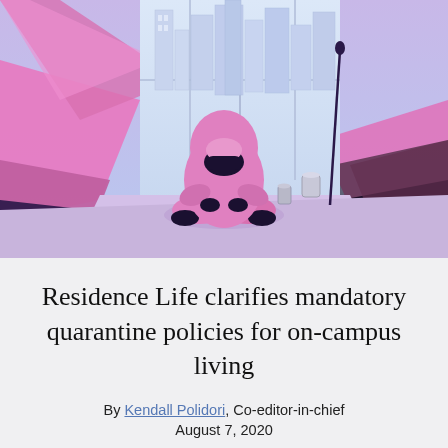[Figure (illustration): A stylized illustration of a person wearing a pink hoodie and black face mask, sitting cross-legged on a floor. Behind them is a large window showing a city skyline in light purple/blue tones. The room has geometric angular shapes in pink and dark purple on the left and right sides. A can and a mop/broom are visible near the person.]
Residence Life clarifies mandatory quarantine policies for on-campus living
By Kendall Polidori, Co-editor-in-chief
August 7, 2020